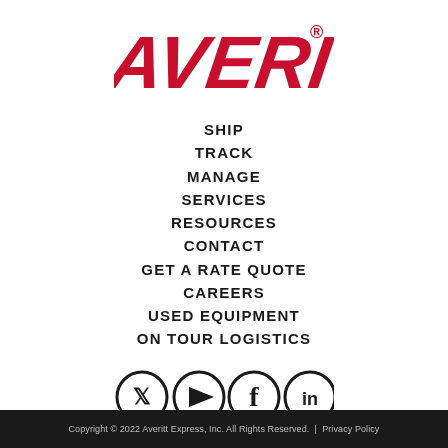[Figure (logo): Averitt logo in bold red italicized text with registered trademark symbol]
SHIP
TRACK
MANAGE
SERVICES
RESOURCES
CONTACT
GET A RATE QUOTE
CAREERS
USED EQUIPMENT
ON TOUR LOGISTICS
[Figure (illustration): Social media icons: Twitter, YouTube, Facebook, LinkedIn — black circle outlines with white icons]
Copyright © 2022 Averitt Express, Inc. All Rights Reserved.  |  Privacy Policy